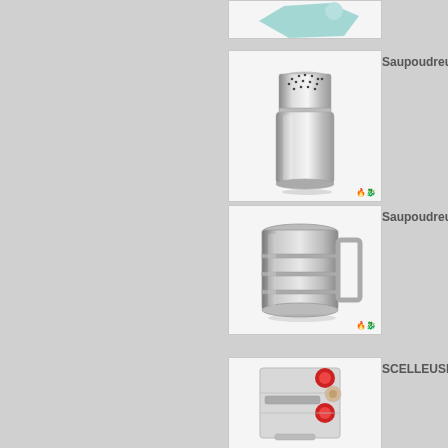[Figure (photo): Partial top product card showing a kitchen item, cropped at top of page]
[Figure (photo): Stainless steel powder shaker / dredger with perforated lid]
Saupoudreuse i
[Figure (photo): Stainless steel flour sifter with handle]
Saupoudreuse i
[Figure (photo): SCELLEUSE FE - bag sealer machine with red knobs]
SCELLEUSE FE